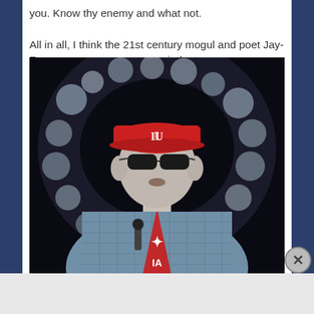you. Know thy enemy and what not.

All in all, I think the 21st century mogul and poet Jay-Z can some up my current mindset.
[Figure (photo): Artistic/stylized photo of a man wearing a red cap with IU logo, sunglasses, quilted jacket, and Adidas jersey, surrounded by a halo of bokeh lights on a dark background.]
Advertisements
[Figure (other): Victoria's Secret advertisement banner: photo of a woman on left, VS logo, 'SHOP THE COLLECTION' text, and 'SHOP NOW' button on right.]